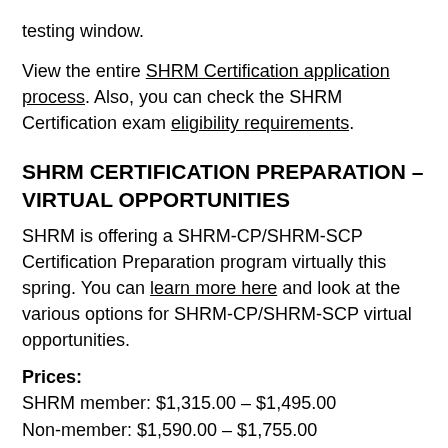testing window.
View the entire SHRM Certification application process. Also, you can check the SHRM Certification exam eligibility requirements.
SHRM CERTIFICATION PREPARATION – VIRTUAL OPPORTUNITIES
SHRM is offering a SHRM-CP/SHRM-SCP Certification Preparation program virtually this spring. You can learn more here and look at the various options for SHRM-CP/SHRM-SCP virtual opportunities.
Prices:
SHRM member: $1,315.00 – $1,495.00
Non-member: $1,590.00 – $1,755.00